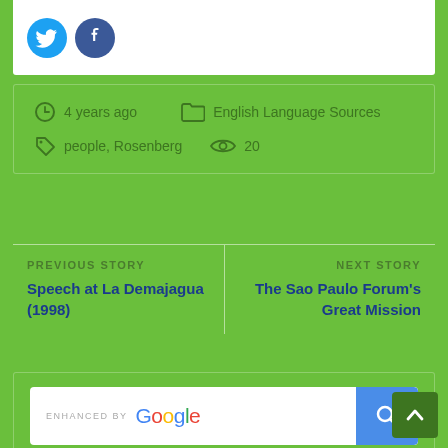[Figure (screenshot): Top white card with two circular social media icons (blue Twitter and blue Facebook)]
4 years ago   English Language Sources   people, Rosenberg   20
PREVIOUS STORY
Speech at La Demajagua (1998)
NEXT STORY
The Sao Paulo Forum's Great Mission
[Figure (screenshot): Google enhanced search box with blue search button]
SUBSCRIBE TO BLOG VIA EMAIL
Enter your email address to subscribe to this blog and receive notifications of new posts by email.